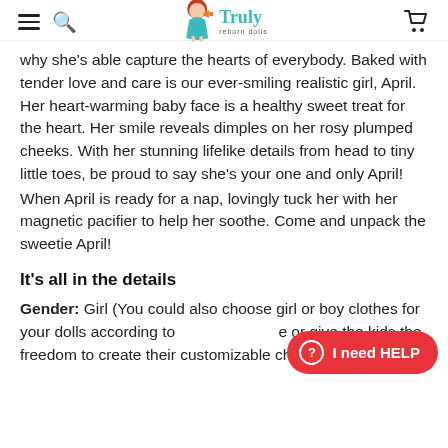Truly reborn dolls
why she's able capture the hearts of everybody. Baked with tender love and care is our ever-smiling realistic girl, April. Her heart-warming baby face is a healthy sweet treat for the heart. Her smile reveals dimples on her rosy plumped cheeks. With her stunning lifelike details from head to tiny little toes, be proud to say she's your one and only April!
When April is ready for a nap, lovingly tuck her with her magnetic pacifier to help her soothe. Come and unpack the sweetie April!
It's all in the details
Gender: Girl (You could also choose girl or boy clothes for your dolls according to preference, or give the kids the freedom to create their customizable characters)